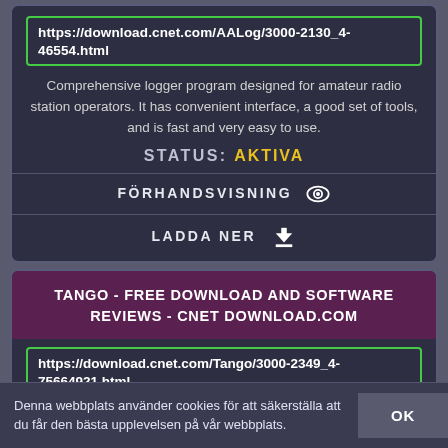https://download.cnet.com/AALog/3000-2130_4-46554.html
Comprehensive logger program designed for amateur radio station operators. It has convenient interface, a good set of tools, and is fast and very easy to use.
STATUS: AKTIVA
FÖRHANDSVISNING
LADDA NER
TANGO - FREE DOWNLOAD AND SOFTWARE REVIEWS - CNET DOWNLOAD.COM
https://download.cnet.com/Tango/3000-2349_4-75664921.html
Tango works on the PC, iPhone, iPod touch, iPad, Windows Phone 7 and all
Denna webbplats använder cookies för att säkerställa att du får den bästa upplevelsen på vår webbplats.